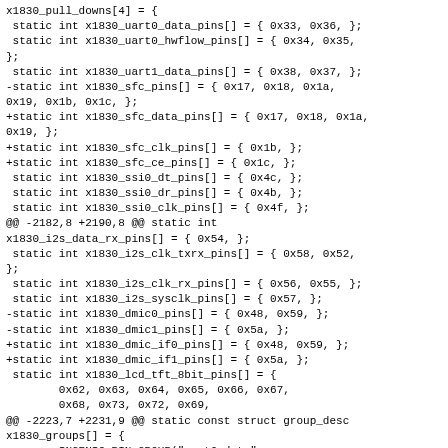x1830_pull_downs[4] = {
 static int x1830_uart0_data_pins[] = { 0x33, 0x36, };
 static int x1830_uart0_hwflow_pins[] = { 0x34, 0x35,
};
 static int x1830_uart1_data_pins[] = { 0x38, 0x37, };
-static int x1830_sfc_pins[] = { 0x17, 0x18, 0x1a,
0x19, 0x1b, 0x1c, };
+static int x1830_sfc_data_pins[] = { 0x17, 0x18, 0x1a,
0x19, };
+static int x1830_sfc_clk_pins[] = { 0x1b, };
+static int x1830_sfc_ce_pins[] = { 0x1c, };
 static int x1830_ssi0_dt_pins[] = { 0x4c, };
 static int x1830_ssi0_dr_pins[] = { 0x4b, };
 static int x1830_ssi0_clk_pins[] = { 0x4f, };
@@ -2182,8 +2190,8 @@ static int
x1830_i2s_data_rx_pins[] = { 0x54, };
 static int x1830_i2s_clk_txrx_pins[] = { 0x58, 0x52,
};
 static int x1830_i2s_clk_rx_pins[] = { 0x56, 0x55, };
 static int x1830_i2s_sysclk_pins[] = { 0x57, };
-static int x1830_dmic0_pins[] = { 0x48, 0x59, };
-static int x1830_dmic1_pins[] = { 0x5a, };
+static int x1830_dmic_if0_pins[] = { 0x48, 0x59, };
+static int x1830_dmic_if1_pins[] = { 0x5a, };
 static int x1830_lcd_tft_8bit_pins[] = {
        0x62, 0x63, 0x64, 0x65, 0x66, 0x67,
        0x68, 0x73, 0x72, 0x69,
@@ -2223,7 +2231,9 @@ static const struct group_desc
x1830_groups[] = {
        INGENIC_PIN_GROUP("uart0-data",
x1830_uart0_data, 0);